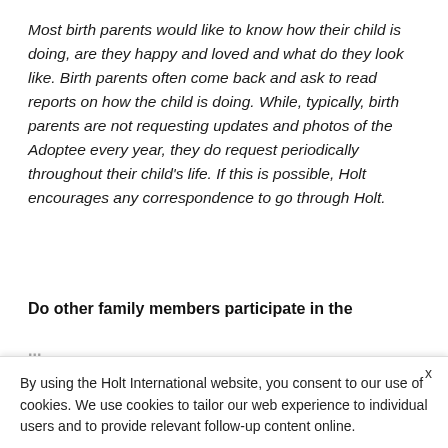Most birth parents would like to know how their child is doing, are they happy and loved and what do they look like. Birth parents often come back and ask to read reports on how the child is doing. While, typically, birth parents are not requesting updates and photos of the Adoptee every year, they do request periodically throughout their child's life. If this is possible, Holt encourages any correspondence to go through Holt.
Do other family members participate in the
By using the Holt International website, you consent to our use of cookies. We use cookies to tailor our web experience to individual users and to provide relevant follow-up content online.